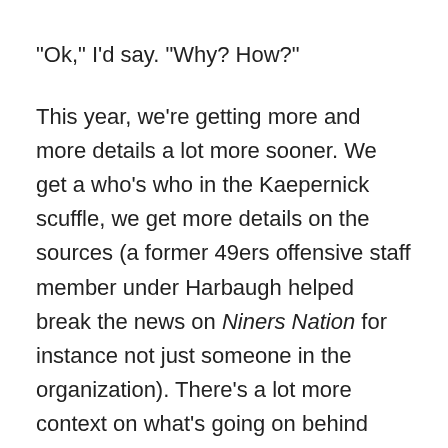"Ok," I'd say. "Why? How?"
This year, we're getting more and more details a lot more sooner. We get a who's who in the Kaepernick scuffle, we get more details on the sources (a former 49ers offensive staff member under Harbaugh helped break the news on Niners Nation for instance not just someone in the organization). There's a lot more context on what's going on behind closed doors that I can tell there is a serious problem in 49ers-land, not the front office feeding info to reporters. In my opinion, it seemed like concrete details came much, much later last year.  This is showing me exactly what's going on, not telling me, which means only one thing: it's bad. I don't think Colin Kaepernick is that bad of a